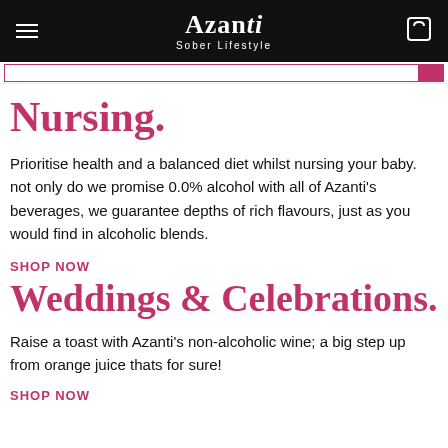Azanti Sober Lifestyle
Nursing.
Prioritise health and a balanced diet whilst nursing your baby. not only do we promise 0.0% alcohol with all of Azanti's beverages, we guarantee depths of rich flavours, just as you would find in alcoholic blends.
SHOP NOW
Weddings & Celebrations.
Raise a toast with Azanti's non-alcoholic wine; a big step up from orange juice thats for sure!
SHOP NOW